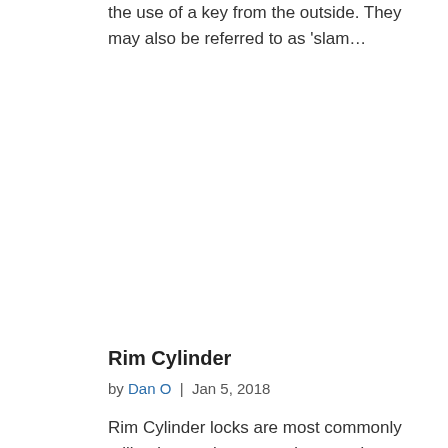the use of a key from the outside. They may also be referred to as 'slam…
Rim Cylinder
by Dan O | Jan 5, 2018
Rim Cylinder locks are most commonly utilised on main access doors and are what is…